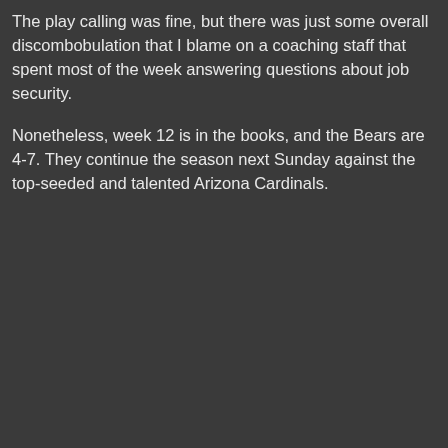The play calling was fine, but there was just some overall discombobulation that I blame on a coaching staff that spent most of the week answering questions about job security.
Nonetheless, week 12 is in the books, and the Bears are 4-7. They continue the season next Sunday against the top-seeded and talented Arizona Cardinals.